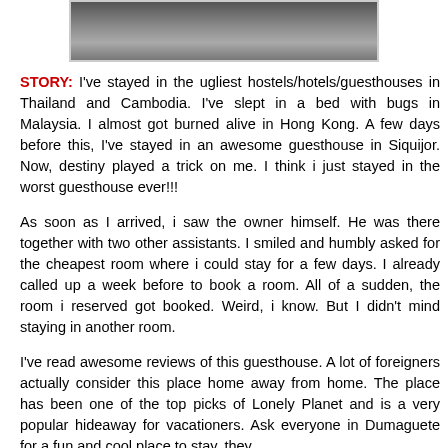[Figure (photo): Partial photo visible at the top of the page, appears to show a person in a light-colored garment against a dark/brown background]
STORY: I've stayed in the ugliest hostels/hotels/guesthouses in Thailand and Cambodia. I've slept in a bed with bugs in Malaysia. I almost got burned alive in Hong Kong. A few days before this, I've stayed in an awesome guesthouse in Siquijor. Now, destiny played a trick on me. I think i just stayed in the worst guesthouse ever!!!
As soon as I arrived, i saw the owner himself. He was there together with two other assistants. I smiled and humbly asked for the cheapest room where i could stay for a few days. I already called up a week before to book a room. All of a sudden, the room i reserved got booked. Weird, i know. But I didn't mind staying in another room.
I've read awesome reviews of this guesthouse. A lot of foreigners actually consider this place home away from home. The place has been one of the top picks of Lonely Planet and is a very popular hideaway for vacationers. Ask everyone in Dumaguete for a fun and cool place to stay, they